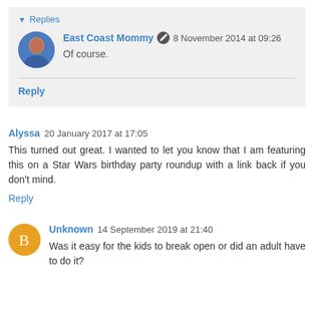Replies
East Coast Mommy  8 November 2014 at 09:26
Of course.
Reply
Alyssa  20 January 2017 at 17:05
This turned out great. I wanted to let you know that I am featuring this on a Star Wars birthday party roundup with a link back if you don't mind.
Reply
Unknown  14 September 2019 at 21:40
Was it easy for the kids to break open or did an adult have to do it?